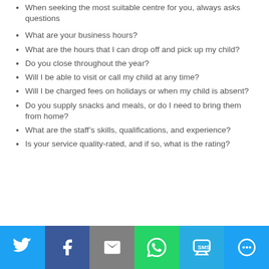When seeking the most suitable centre for you, always asks questions
What are your business hours?
What are the hours that I can drop off and pick up my child?
Do you close throughout the year?
Will I be able to visit or call my child at any time?
Will I be charged fees on holidays or when my child is absent?
Do you supply snacks and meals, or do I need to bring them from home?
What are the staff’s skills, qualifications, and experience?
Is your service quality-rated, and if so, what is the rating?
[Figure (infographic): Social sharing bar with Twitter, Facebook, Email, WhatsApp, SMS, and More buttons]